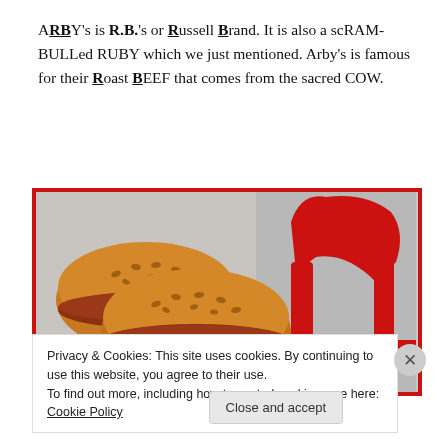ARBY's is R.B.'s or Russell Brand. It is also a scRAMBULLed RUBY which we just mentioned. Arby's is famous for their Roast BEEF that comes from the sacred COW.
[Figure (photo): Photo of Arby's roast beef sandwiches with sesame seed buns on the left, and the Arby's red logo (stylized cowboy hat shape) on the right, against a gray background. Image has a thick red border.]
Privacy & Cookies: This site uses cookies. By continuing to use this website, you agree to their use.
To find out more, including how to control cookies, see here: Cookie Policy